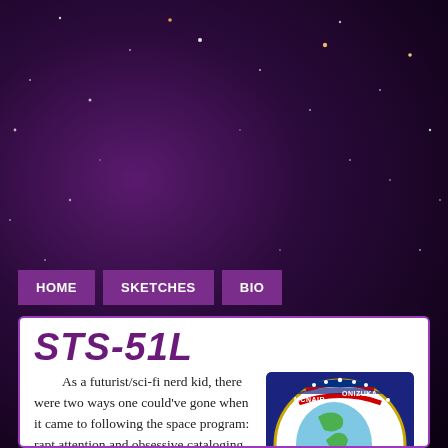[Figure (illustration): Dark purple and black space background with scattered stars]
HOME   SKETCHES   BIO
STS-51L
As a futurist/sci-fi nerd kid, there were two ways one could've gone when it came to following the space program: rapt attention and obsessive cataloging of every development and mission, or a blasé acceptance of its ordinariness and general disinterest in the developments.
[Figure (illustration): Space Shuttle Challenger mission patch (STS-51L) showing crew names: McNair, Onizuka, Resnik, Smith, Scobee, McAuliffe, Jarvis with shuttle and American flag orbiting Earth]
Space Shuttle Challenger 1/28/86